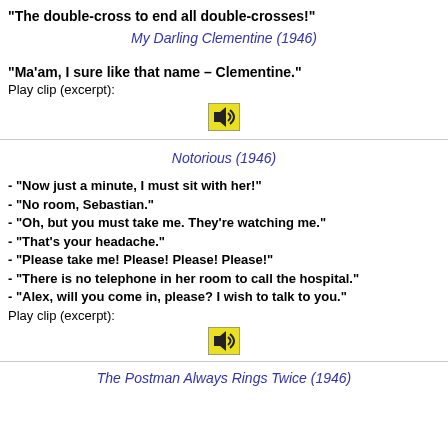"The double-cross to end all double-crosses!"
My Darling Clementine (1946)
"Ma'am, I sure like that name – Clementine."
Play clip (excerpt):
[Figure (other): Speaker/audio icon button]
Notorious (1946)
- "Now just a minute, I must sit with her!"
- "No room, Sebastian."
- "Oh, but you must take me. They're watching me."
- "That's your headache."
- "Please take me! Please! Please! Please!"
- "There is no telephone in her room to call the hospital."
- "Alex, will you come in, please? I wish to talk to you."
Play clip (excerpt):
[Figure (other): Speaker/audio icon button]